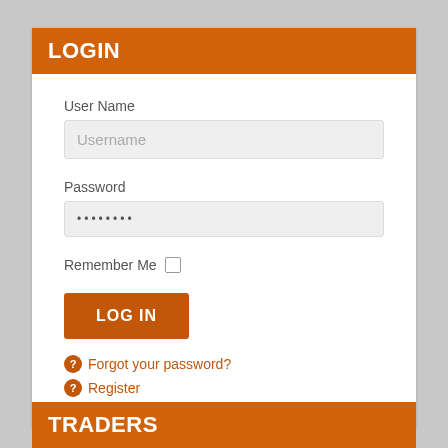LOGIN
User Name
Username
Password
••••••••
Remember Me
LOG IN
Forgot your password?
Register
TRADERS